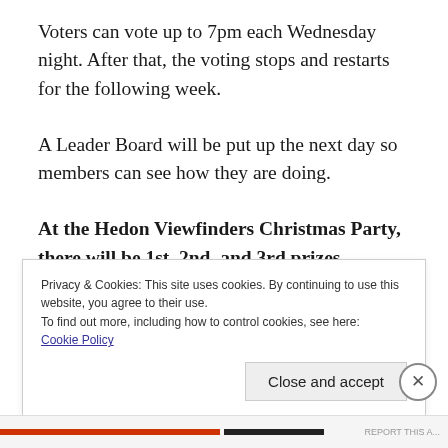Voters can vote up to 7pm each Wednesday night. After that, the voting stops and restarts for the following week.
A Leader Board will be put up the next day so members can see how they are doing.
At the Hedon Viewfinders Christmas Party, there will be 1st, 2nd, and 3rd prizes awarded!
Privacy & Cookies: This site uses cookies. By continuing to use this website, you agree to their use.
To find out more, including how to control cookies, see here:
Cookie Policy